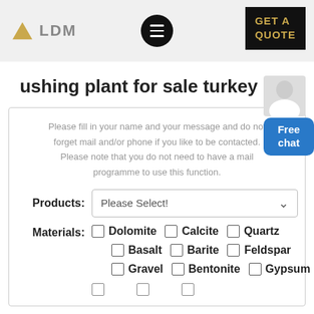LDM | GET A QUOTE
ushing plant for sale turkey
Please fill in your name and your message and do not forget mail and/or phone if you like to be contacted. Please note that you do not need to have a mail programme to use this function.
Products: Please Select!
Materials: Dolomite  Calcite  Quartz  Basalt  Barite  Feldspar  Gravel  Bentonite  Gypsum